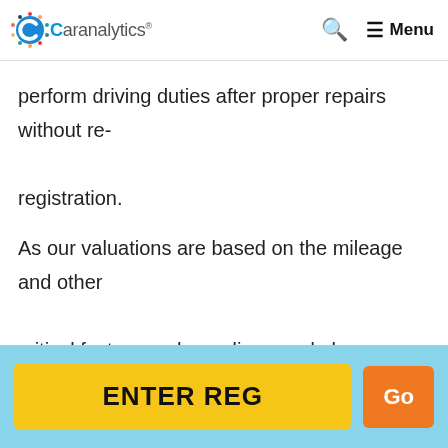Caranalytics® — Search — Menu
perform driving duties after proper repairs without re-registration.
As our valuations are based on the mileage and other critical factors we have discussed above, we provide price estimates of cat n and cat s cars. However, due to various potential variables involved in evaluating